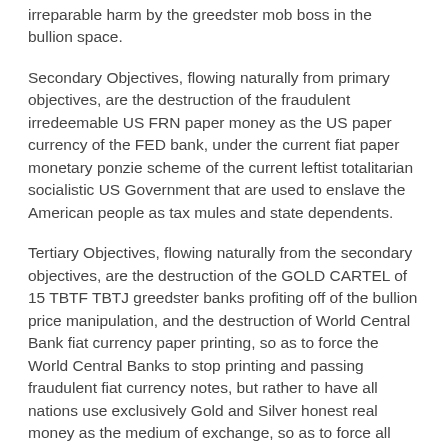irreparable harm by the greedster mob boss in the bullion space.
Secondary Objectives, flowing naturally from primary objectives, are the destruction of the fraudulent irredeemable US FRN paper money as the US paper currency of the FED bank, under the current fiat paper monetary ponzie scheme of the current leftist totalitarian socialistic US Government that are used to enslave the American people as tax mules and state dependents.
Tertiary Objectives, flowing naturally from the secondary objectives, are the destruction of the GOLD CARTEL of 15 TBTF TBTJ greedster banks profiting off of the bullion price manipulation, and the destruction of World Central Bank fiat currency paper printing, so as to force the World Central Banks to stop printing and passing fraudulent fiat currency notes, but rather to have all nations use exclusively Gold and Silver honest real money as the medium of exchange, so as to force all governments to live within their means so as to stop robbing the people through monetary inflationary paper money printing, which robs all paper currency note holders every day that then concentrates power in the governments who enable totalitarian